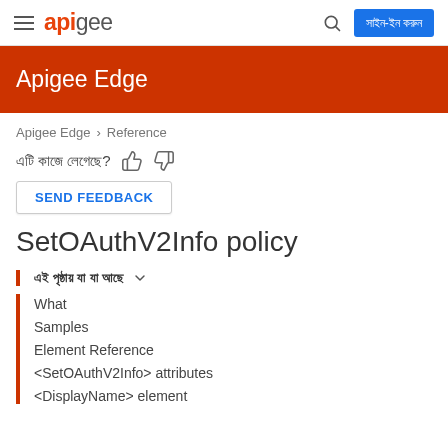apigee | সাইন-ইন করুন
Apigee Edge
Apigee Edge > Reference
এটি কাজে লেগেছে?
SEND FEEDBACK
SetOAuthV2Info policy
এই পৃষ্ঠায় যা যা আছে
What
Samples
Element Reference
<SetOAuthV2Info> attributes
<DisplayName> element